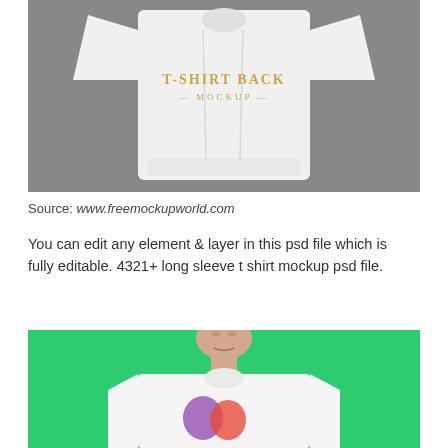[Figure (photo): White long-sleeve t-shirt back mockup laid flat on a gray background, with text 'T-SHIRT BACK — MOCKUP —' printed on the back in gold/tan lettering.]
Source: www.freemockupworld.com
You can edit any element & layer in this psd file which is fully editable. 4321+ long sleeve t shirt mockup psd file.
[Figure (photo): Man wearing a white t-shirt with a colorful design, photographed against a bright green background, cropped to show from chin to chest.]